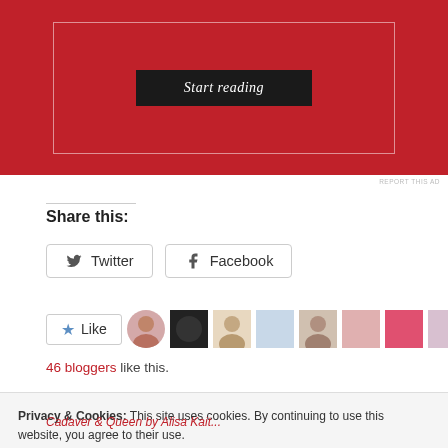[Figure (screenshot): Red advertisement banner with 'Start reading' button in dark box with white border outline]
REPORT THIS AD
Share this:
Twitter
Facebook
[Figure (screenshot): Like button with star icon followed by a row of 9 blogger avatar thumbnails]
46 bloggers like this.
Privacy & Cookies: This site uses cookies. By continuing to use this website, you agree to their use.
To find out more, including how to control cookies, see here: Cookie Policy
Close and accept
Cadaver & Queen by Alisa Kait...